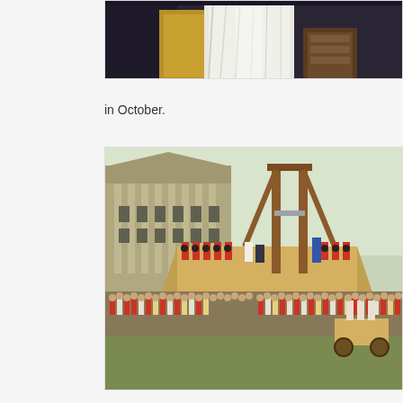[Figure (illustration): Partial view of a portrait painting showing a figure in white dress with gold decorative elements against a dark background — appears to be a royal or aristocratic portrait, cropped at top of page]
in October.
[Figure (illustration): Historical painting depicting a public execution by guillotine during the French Revolution. A large crowd in period clothing surrounds a scaffold with a guillotine. Soldiers in red coats line the platform. Buildings visible in background.]
But this was only the beginning of a wave of